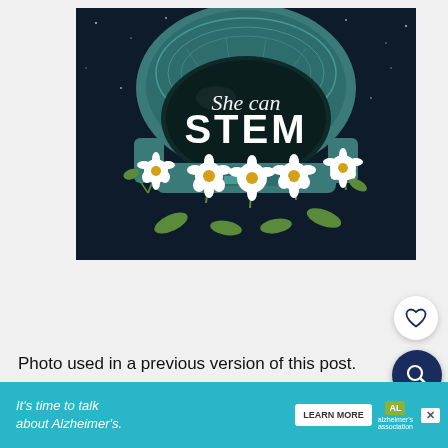[Figure (illustration): Illustration of an astronaut helmet against a dark starry background. The visor of the helmet displays the text 'She can STEM' in stylized lettering — 'She can' in cursive script and 'STEM' in large bold block letters. White daisy flowers with green leaves are arranged around the base of the helmet.]
Photo used in a previous version of this post.
[Figure (screenshot): Advertisement banner for Alzheimer's Association: 'It's time to talk about Alzheimer's.' with a LEARN MORE button, AL badge, and alzheimer's association logo. Close X button visible.]